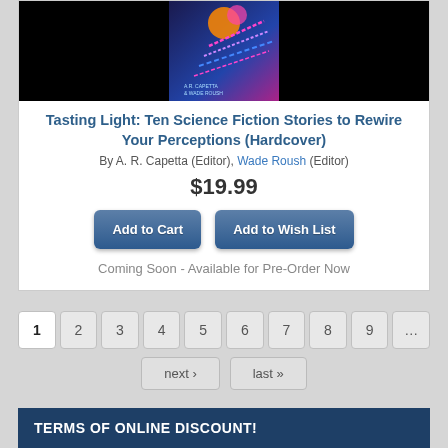[Figure (illustration): Book cover for 'Tasting Light' with dark blue/purple background, orange and pink circles, and diagonal colorful lines]
Tasting Light: Ten Science Fiction Stories to Rewire Your Perceptions (Hardcover)
By A. R. Capetta (Editor), Wade Roush (Editor)
$19.99
Add to Cart | Add to Wish List
Coming Soon - Available for Pre-Order Now
1 2 3 4 5 6 7 8 9 … next › last »
TERMS OF ONLINE DISCOUNT!
Free Shipping on domestic orders over $50